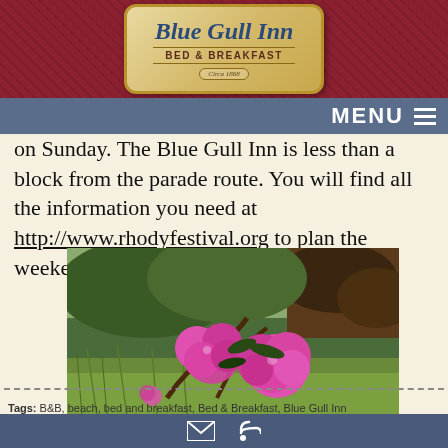[Figure (logo): Blue Gull Inn Bed & Breakfast logo with ornate frame, circa 1868]
on Sunday. The Blue Gull Inn is less than a block from the parade route. You will find all the information you need at http://www.rhodyfestival.org to plan the weekend.
[Figure (photo): Photograph of bright pink rhododendron flowers blooming in a field with green grass and shrubs in the background]
Tags: B&B, beach, bed and breakfast, Bed & Breakfast, Blue Gull Inn...
Mail and RSS icons